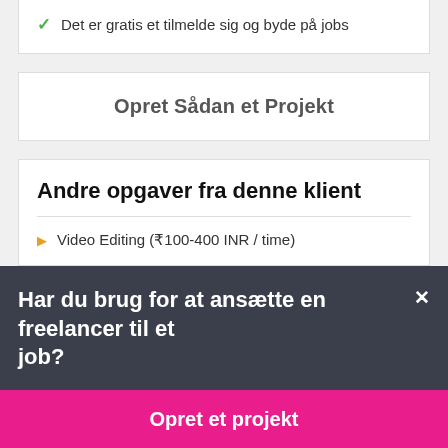Det er gratis et tilmelde sig og byde på jobs
Opret Sådan et Projekt
Andre opgaver fra denne klient
Video Editing (₹100-400 INR / time)
Har du brug for at ansætte en freelancer til et job?
Opret et projekt